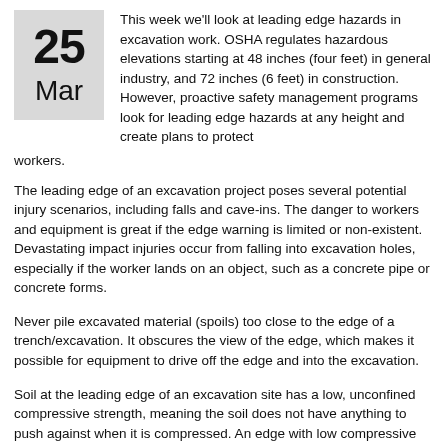25 Mar
This week we'll look at leading edge hazards in excavation work. OSHA regulates hazardous elevations starting at 48 inches (four feet) in general industry, and 72 inches (6 feet) in construction. However, proactive safety management programs look for leading edge hazards at any height and create plans to protect workers.
The leading edge of an excavation project poses several potential injury scenarios, including falls and cave-ins. The danger to workers and equipment is great if the edge warning is limited or non-existent. Devastating impact injuries occur from falling into excavation holes, especially if the worker lands on an object, such as a concrete pipe or concrete forms.
Never pile excavated material (spoils) too close to the edge of a trench/excavation. It obscures the view of the edge, which makes it possible for equipment to drive off the edge and into the excavation.
Soil at the leading edge of an excavation site has a low, unconfined compressive strength, meaning the soil does not have anything to push against when it is compressed. An edge with low compressive strength can result in the soil giving way, and anyone or anything at